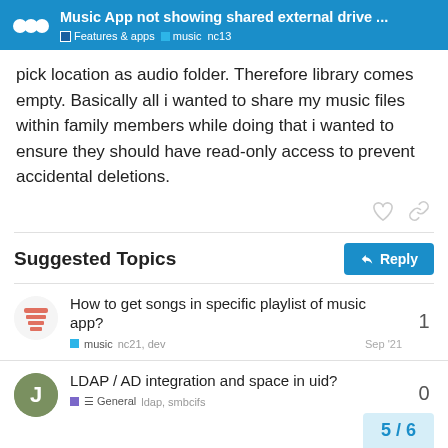Music App not showing shared external drive ...
pick location as audio folder. Therefore library comes empty. Basically all i wanted to share my music files within family members while doing that i wanted to ensure they should have read-only access to prevent accidental deletions.
Suggested Topics
How to get songs in specific playlist of music app?
music  nc21, dev  Sep '21
LDAP / AD integration and space in uid?
☰ General  ldap, smbcifs